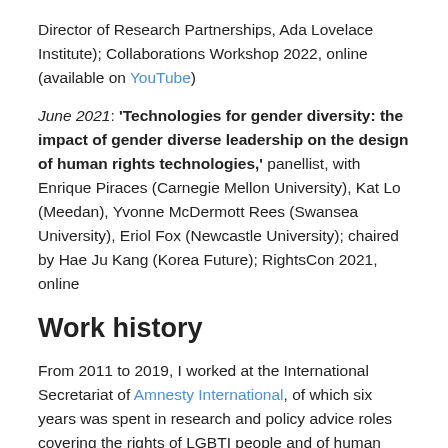Director of Research Partnerships, Ada Lovelace Institute); Collaborations Workshop 2022, online (available on YouTube)
June 2021: 'Technologies for gender diversity: the impact of gender diverse leadership on the design of human rights technologies,' panellist, with Enrique Piraces (Carnegie Mellon University), Kat Lo (Meedan), Yvonne McDermott Rees (Swansea University), Eriol Fox (Newcastle University); chaired by Hae Ju Kang (Korea Future); RightsCon 2021, online
Work history
From 2011 to 2019, I worked at the International Secretariat of Amnesty International, of which six years was spent in research and policy advice roles covering the rights of LGBTI people and of human rights defenders.
I have also worked as a caseworker for domestic violence and hate crime cases, a freelance maths tutor, a bartender,